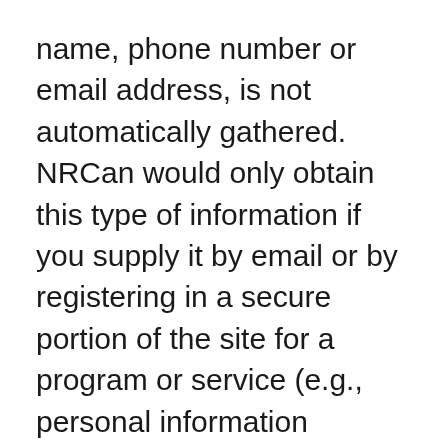name, phone number or email address, is not automatically gathered. NRCan would only obtain this type of information if you supply it by email or by registering in a secure portion of the site for a program or service (e.g., personal information provided voluntarily when you complete an online form or request for service).
The nature of the Internet is such that web servers automatically collect certain information about a visit to a website, including the visitor's Internet Protocol (IP) address. IP addresses are unique numbers